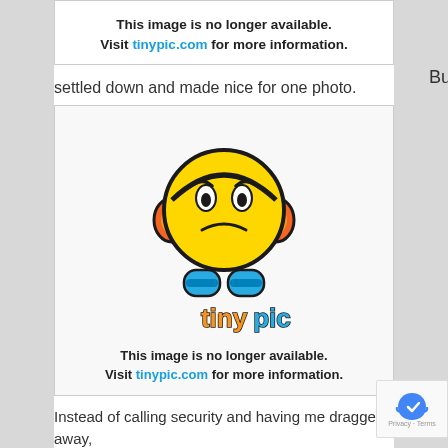[Figure (screenshot): Tinypic broken image placeholder showing sad emoji face with headphones and tinypic logo, with text 'This image is no longer available. Visit tinypic.com for more information.']
But I
settled down and made nice for one photo.
[Figure (screenshot): Tinypic broken image placeholder showing sad emoji face with headphones and tinypic logo, with text 'This image is no longer available. Visit tinypic.com for more information.']
Instead of calling security and having me dragged away, she actually signed my book.